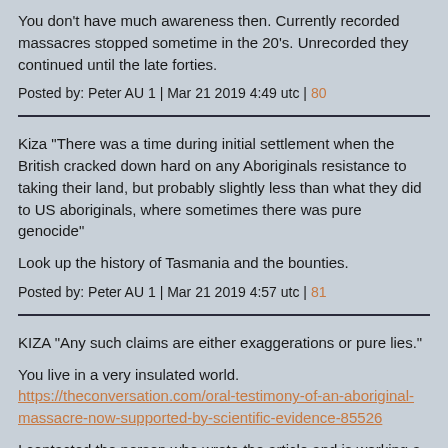You don't have much awareness then. Currently recorded massacres stopped sometime in the 20's. Unrecorded they continued until the late forties.
Posted by: Peter AU 1 | Mar 21 2019 4:49 utc | 80
Kiza "There was a time during initial settlement when the British cracked down hard on any Aboriginals resistance to taking their land, but probably slightly less than what they did to US aboriginals, where sometimes there was pure genocide"
Look up the history of Tasmania and the bounties.
Posted by: Peter AU 1 | Mar 21 2019 4:57 utc | 81
KIZA "Any such claims are either exaggerations or pure lies."
You live in a very insulated world. https://theconversation.com/oral-testimony-of-an-aboriginal-massacre-now-supported-by-scientific-evidence-85526
I contacted the person who wrote the article and is working a little to the south of where I operated for a time. There was a block of land called the Wood River UCL which no aboriginal group claims. The people that lived in that